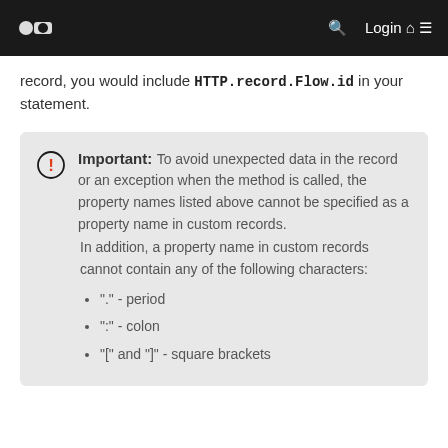Login
record, you would include HTTP.record.Flow.id in your statement.
Important: To avoid unexpected data in the record or an exception when the method is called, the property names listed above cannot be specified as a property name in custom records.
In addition, a property name in custom records cannot contain any of the following characters:
"." - period
":" - colon
"[" and "]" - square brackets